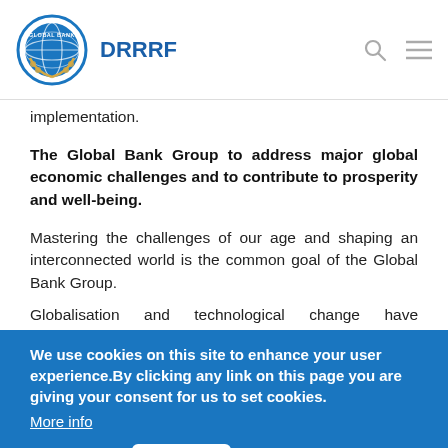DRRRF
implementation.
The Global Bank Group to address major global economic challenges and to contribute to prosperity and well-being. Mastering the challenges of our age and shaping an interconnected world is the common goal of the Global Bank Group.
Globalisation and technological change have contributed significantly to driving economic growth and raising living standards across the globe. However, globalisation has created challenges, and its benefits have not been shared widely enough. The Global
We use cookies on this site to enhance your user experience.By clicking any link on this page you are giving your consent for us to set cookies. More info
community, including terrorism, displacement, poverty, hunger and health threats, job creation, climate change, energy security, and inequality including gender inequality, as a basis for sustainable